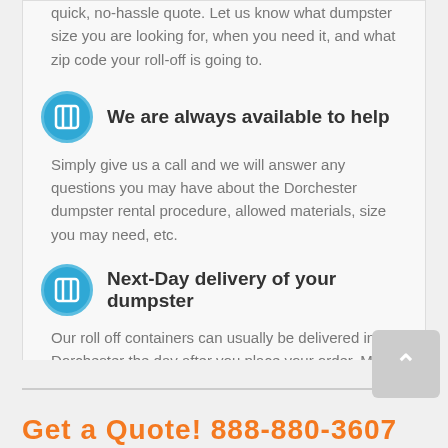quick, no-hassle quote. Let us know what dumpster size you are looking for, when you need it, and what zip code your roll-off is going to.
We are always available to help
Simply give us a call and we will answer any questions you may have about the Dorchester dumpster rental procedure, allowed materials, size you may need, etc.
Next-Day delivery of your dumpster
Our roll off containers can usually be delivered in Dorchester the day after you place your order. Make sure to call us early to ensure timely delivery.
Get a Quote! 888-880-3607